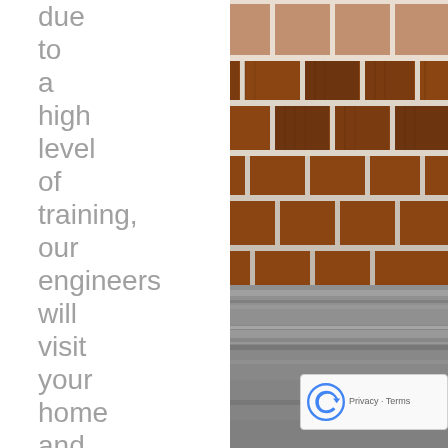due to a high level of training, our engineers will visit your home and diagnose the issue you are
[Figure (photo): Close-up photograph of a brick wall with mortar joints, and a gray metal gutter or flashing at the bottom. The bricks are reddish-brown and the mortar is light-colored. A reCAPTCHA badge overlay appears in the lower right corner.]